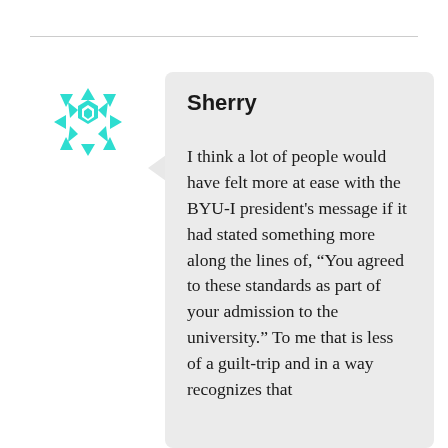[Figure (illustration): Circular avatar icon with a cyan/turquoise geometric snowflake-like pattern on white background]
Sherry
I think a lot of people would have felt more at ease with the BYU-I president's message if it had stated something more along the lines of, “You agreed to these standards as part of your admission to the university.” To me that is less of a guilt-trip and in a way recognizes that